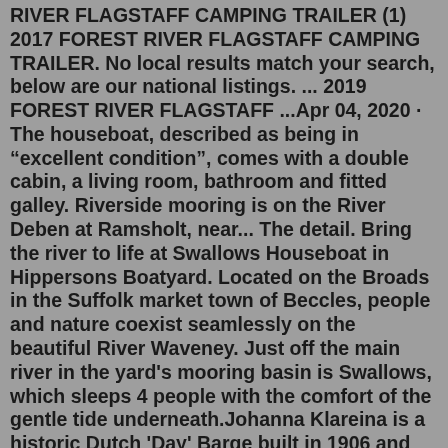RIVER FLAGSTAFF CAMPING TRAILER (1) 2017 FOREST RIVER FLAGSTAFF CAMPING TRAILER. No local results match your search, below are our national listings. ... 2019 FOREST RIVER FLAGSTAFF ...Apr 04, 2020 · The houseboat, described as being in "excellent condition", comes with a double cabin, a living room, bathroom and fitted galley. Riverside mooring is on the River Deben at Ramsholt, near... The detail. Bring the river to life at Swallows Houseboat in Hippersons Boatyard. Located on the Broads in the Suffolk market town of Beccles, people and nature coexist seamlessly on the beautiful River Waveney. Just off the main river in the yard's mooring basin is Swallows, which sleeps 4 people with the comfort of the gentle tide underneath.Johanna Klareina is a historic Dutch 'Day' Barge built in 1906 and an fabulous mooring with unobstructed panoramic views down the River Deben. Complete with original log book, this 21m iron hull barge was converted in the 1970's, but in the last ten years, has been further professionally renovated